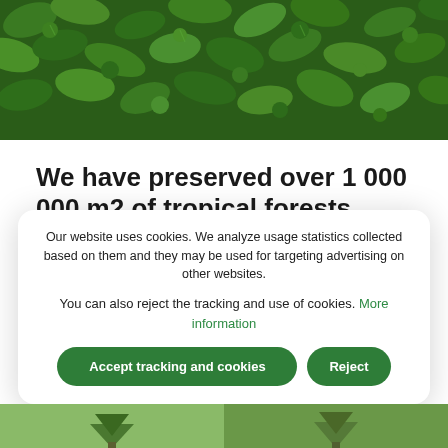[Figure (photo): Close-up photo of dense green tropical leaves filling the frame]
We have preserved over 1 000 000 m2 of tropical forests
14.03.2019
World Land Trust (WLT) is an international nature conservation organization that aims to preserve the most biologically significant and endangered habitats around
Our website uses cookies. We analyze usage statistics collected based on them and they may be used for targeting advertising on other websites.

You can also reject the tracking and use of cookies. More information
[Figure (photo): Partial photo at bottom of page showing tropical forest/nature scene]